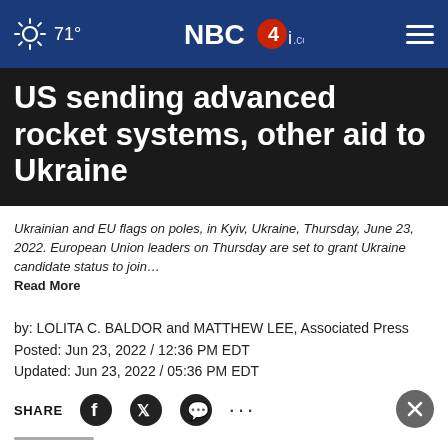71° NBC4i.com
US sending advanced rocket systems, other aid to Ukraine
Ukrainian and EU flags on poles, in Kyiv, Ukraine, Thursday, June 23, 2022. European Union leaders on Thursday are set to grant Ukraine candidate status to join… Read More
by: LOLITA C. BALDOR and MATTHEW LEE, Associated Press
Posted: Jun 23, 2022 / 12:36 PM EDT
Updated: Jun 23, 2022 / 05:36 PM EDT
SHARE
WASHINGTON (AP) — The United States will send